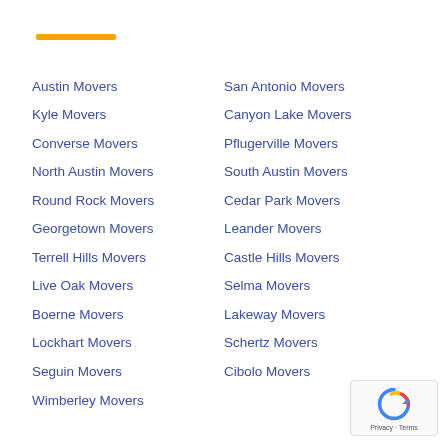Austin Movers
Kyle Movers
Converse Movers
North Austin Movers
Round Rock Movers
Georgetown Movers
Terrell Hills Movers
Live Oak Movers
Boerne Movers
Lockhart Movers
Seguin Movers
Wimberley Movers
San Antonio Movers
Canyon Lake Movers
Pflugerville Movers
South Austin Movers
Cedar Park Movers
Leander Movers
Castle Hills Movers
Selma Movers
Lakeway Movers
Schertz Movers
Cibolo Movers